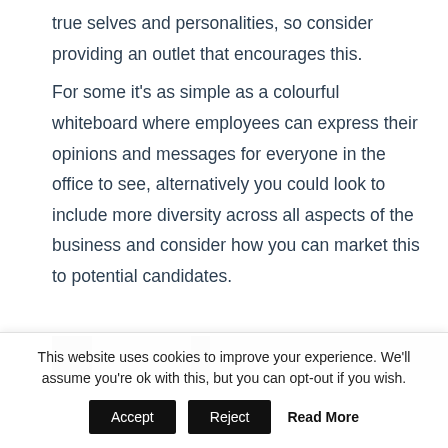true selves and personalities, so consider providing an outlet that encourages this.

For some it's as simple as a colourful whiteboard where employees can express their opinions and messages for everyone in the office to see, alternatively you could look to include more diversity across all aspects of the business and consider how you can market this to potential candidates.
[Figure (photo): Partial photo strip visible at bottom of main content area, showing a blurred/cropped image with grey tones]
This website uses cookies to improve your experience. We'll assume you're ok with this, but you can opt-out if you wish.